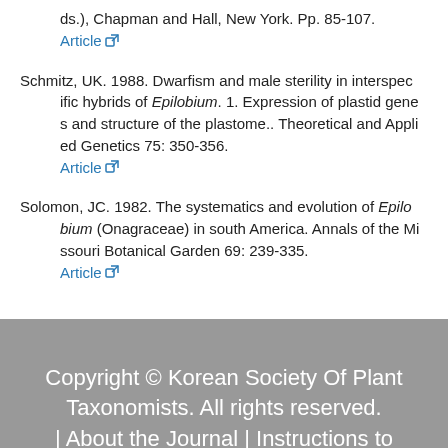ds.), Chapman and Hall, New York. Pp. 85-107. Article
Schmitz, UK. 1988. Dwarfism and male sterility in interspecific hybrids of Epilobium. 1. Expression of plastid genes and structure of the plastome.. Theoretical and Applied Genetics 75: 350-356. Article
Solomon, JC. 1982. The systematics and evolution of Epilobium (Onagraceae) in south America. Annals of the Missouri Botanical Garden 69: 239-335. Article
Copyright © Korean Society Of Plant Taxonomists. All rights reserved. | About the Journal | Instructions to authors | View Full Site |